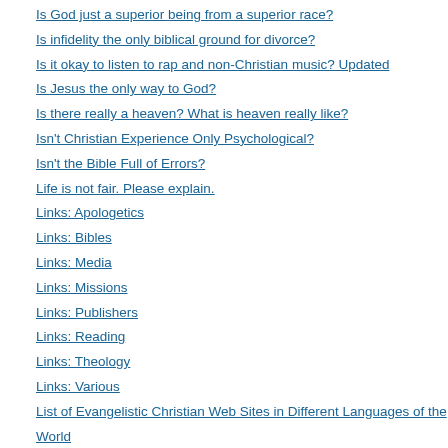Is God just a superior being from a superior race?
Is infidelity the only biblical ground for divorce?
Is it okay to listen to rap and non-Christian music? Updated
Is Jesus the only way to God?
Is there really a heaven? What is heaven really like?
Isn't Christian Experience Only Psychological?
Isn't the Bible Full of Errors?
Life is not fair. Please explain.
Links: Apologetics
Links: Bibles
Links: Media
Links: Missions
Links: Publishers
Links: Reading
Links: Theology
Links: Various
List of Evangelistic Christian Web Sites in Different Languages of the World
Marraige